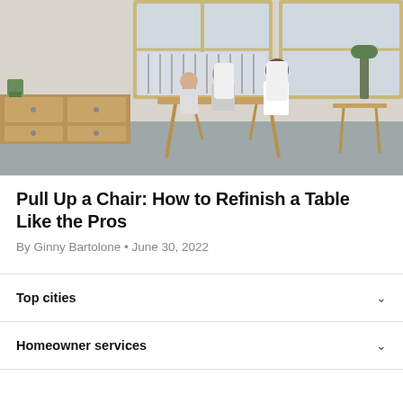[Figure (photo): Family of three people seated around a wooden dining table with white modern chairs in a bright apartment with large wooden-framed windows and balcony visible in the background. A long wooden sideboard runs along the left wall.]
Pull Up a Chair: How to Refinish a Table Like the Pros
By Ginny Bartolone • June 30, 2022
Top cities
Homeowner services